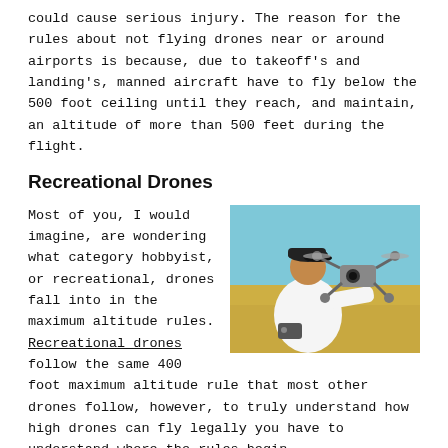could cause serious injury. The reason for the rules about not flying drones near or around airports is because, due to takeoff's and landing's, manned aircraft have to fly below the 500 foot ceiling until they reach, and maintain, an altitude of more than 500 feet during the flight.
Recreational Drones
[Figure (photo): A person wearing a white shirt and black cap holding a drone up toward the camera in an outdoor field setting with a blue sky background.]
Most of you, I would imagine, are wondering what category hobbyist, or recreational, drones fall into in the maximum altitude rules. Recreational drones follow the same 400 foot maximum altitude rule that most other drones follow, however, to truly understand how high drones can fly legally you have to understand where the rules begin.
The 400 foot maximum altitude rule stipulates that altitude